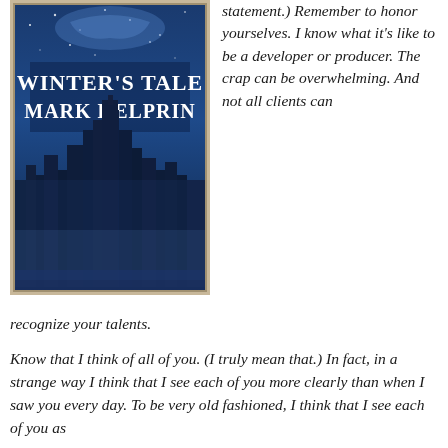[Figure (illustration): Book cover of 'Winter's Tale' by Mark Helprin, showing a blue-toned fantasy cityscape with tall buildings and a starry night sky, with the title text in white serif font.]
statement.) Remember to honor yourselves. I know what it's like to be a developer or producer. The crap can be overwhelming. And not all clients can recognize your talents.
Know that I think of all of you. (I truly mean that.) In fact, in a strange way I think that I see each of you more clearly than when I saw you every day. To be very old fashioned, I think that I see each of you as